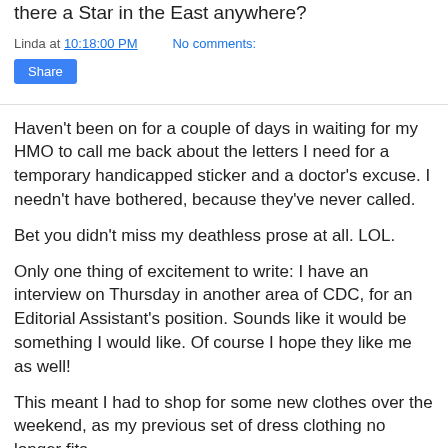there a Star in the East anywhere?
Linda at 10:18:00 PM    No comments:
Share
Haven't been on for a couple of days in waiting for my HMO to call me back about the letters I need for a temporary handicapped sticker and a doctor's excuse. I needn't have bothered, because they've never called.
Bet you didn't miss my deathless prose at all. LOL.
Only one thing of excitement to write: I have an interview on Thursday in another area of CDC, for an Editorial Assistant's position. Sounds like it would be something I would like. Of course I hope they like me as well!
This meant I had to shop for some new clothes over the weekend, as my previous set of dress clothing no longer fits.